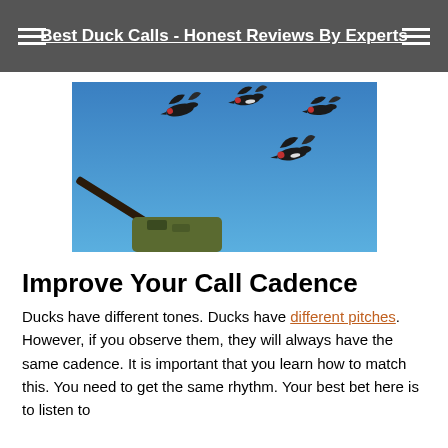Best Duck Calls - Honest Reviews By Experts
[Figure (photo): Hunter aiming a shotgun upward at four ducks flying against a blue sky]
Improve Your Call Cadence
Ducks have different tones. Ducks have different pitches. However, if you observe them, they will always have the same cadence. It is important that you learn how to match this. You need to get the same rhythm. Your best bet here is to listen to